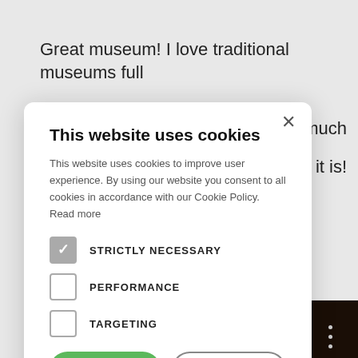Great museum! I love traditional museums full
much
t as it is!
This website uses cookies
This website uses cookies to improve user experience. By using our website you consent to all cookies in accordance with our Cookie Policy. Read more
STRICTLY NECESSARY
PERFORMANCE
TARGETING
ACCEPT ALL
DECLINE ALL
SHOW DETAILS
POWERED BY COOKIE-SCRIPT